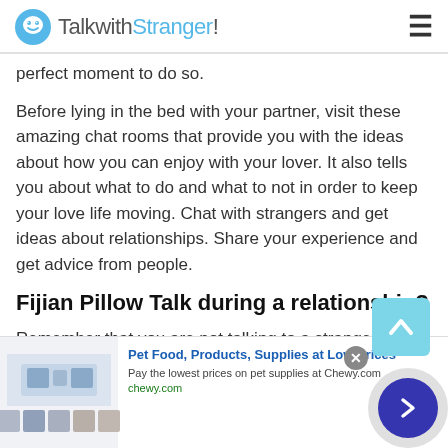TalkwithStranger!
perfect moment to do so.
Before lying in the bed with your partner, visit these amazing chat rooms that provide you with the ideas about how you can enjoy with your lover. It also tells you about what to do and what to not in order to keep your love life moving. Chat with strangers and get ideas about relationships. Share your experience and get advice from people.
Fijian Pillow Talk during a relationship?
Remember that you are not talking to a stranger, one of
[Figure (screenshot): Advertisement banner for Chewy.com pet food and supplies with product images, close button, and navigation arrow.]